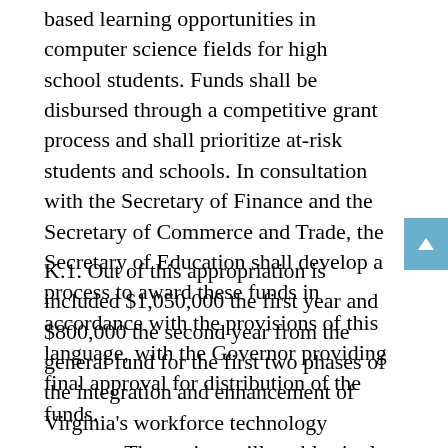based learning opportunities in computer science fields for high school students. Funds shall be disbursed through a competitive grant process and shall prioritize at-risk students and schools. In consultation with the Secretary of Finance and the Secretary of Commerce and Trade, the Secretary of Education shall develop a process to award these funds in accordance with the provisions of this language, with the Governor providing final approval for distribution of the funds.
K.1. Out of this appropriation is included $1,050,000 the first year and $800,000 the second year from the general fund for the first two phases of the integration and enhancement of Virginia's workforce technology systems. The project will enable single sign-on access for users and the addition of new individual, organization, and community-level data from both current and future agency partners. To the